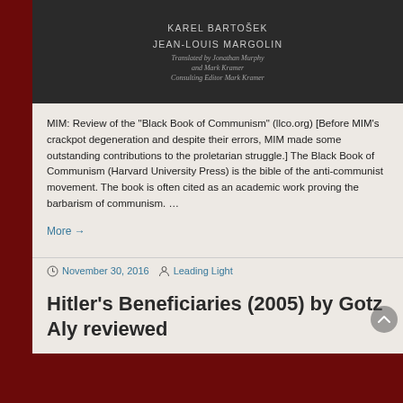[Figure (photo): Dark book cover showing author names KAREL BARTOŠEK and JEAN-LOUIS MARGOLIN with credits for translator Jonathan Murphy and Mark Kramer, Consulting Editor Mark Kramer]
MIM: Review of the "Black Book of Communism" (llco.org) [Before MIM's crackpot degeneration and despite their errors, MIM made some outstanding contributions to the proletarian struggle.] The Black Book of Communism (Harvard University Press) is the bible of the anti-communist movement. The book is often cited as an academic work proving the barbarism of communism. …
More →
November 30, 2016   Leading Light   1 Comment
Hitler's Beneficiaries (2005) by Gotz Aly reviewed